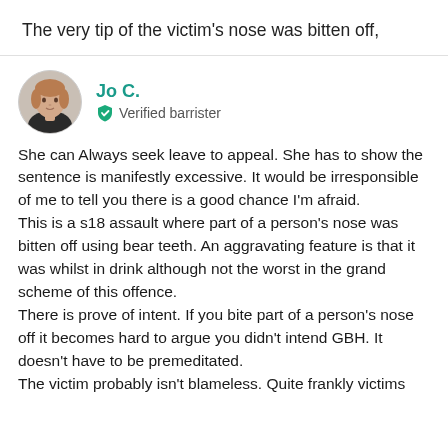The very tip of the victim's nose was bitten off,
[Figure (photo): Circular avatar photo of a woman with blonde/auburn hair wearing dark clothing, representing user Jo C.]
Jo C.
Verified barrister
She can Always seek leave to appeal. She has to show the sentence is manifestly excessive. It would be irresponsible of me to tell you there is a good chance I'm afraid.
This is a s18 assault where part of a person's nose was bitten off using bear teeth. An aggravating feature is that it was whilst in drink although not the worst in the grand scheme of this offence.
There is prove of intent. If you bite part of a person's nose off it becomes hard to argue you didn't intend GBH. It doesn't have to be premeditated.
The victim probably isn't blameless. Quite frankly victims